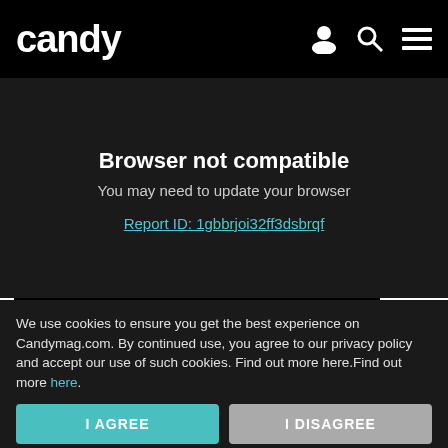candy
Browser not compatible
You may need to update your browser
Report ID: 1gbbrjoi32ff3dsbrqf
[Figure (advertisement): Black background ad with white typewriter-font text reading 'Hair up. Sweats on.' and a pink rounded button reading 'Read on App']
We use cookies to ensure you get the best experience on Candymag.com. By continued use, you agree to our privacy policy and accept our use of such cookies. Find out more here.Find out more here.